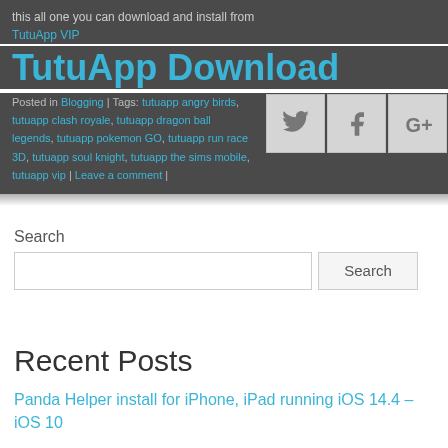this all one you can download and install from TutuApp VIP
TutuApp Download
Posted in Blogging | Tags: tutuapp angry birds, tutuapp clash royale, tutuapp dragon ball legends, tutuapp pokemon GO, tutuapp run race 3D, tutuapp soul knight, tutuapp the sims mobile, tutuapp vip | Leave a comment |
[Figure (screenshot): Social share buttons: Twitter, Facebook, Google+]
Search
Search button
Recent Posts
Panda Helper install for iPhone, iPad running iOS 14.4 – iOS 10